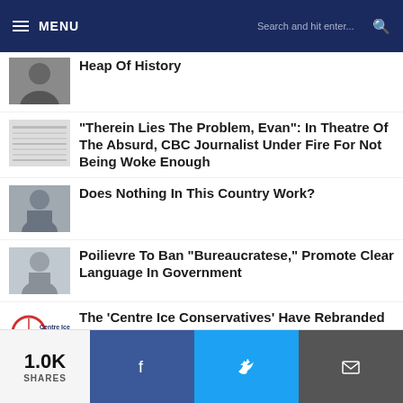MENU | Search and hit enter...
Heap Of History
"Therein Lies The Problem, Evan": In Theatre Of The Absurd, CBC Journalist Under Fire For Not Being Woke Enough
Does Nothing In This Country Work?
Poilievre To Ban "Bureaucratese," Promote Clear Language In Government
The 'Centre Ice Conservatives' Have Rebranded To 'Centre Ice Canadians'
Bank Of Canada Slammed For Trying To Manipulate Canadians On Money Printing
1.0K SHARES